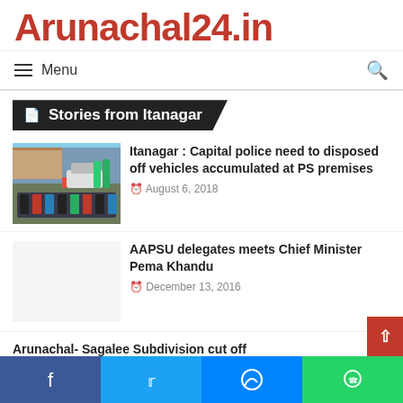Arunachal24.in
Stories from Itanagar
[Figure (photo): Aerial view of motorcycles and vehicles parked at a police station premises]
Itanagar : Capital police need to disposed off vehicles accumulated at PS premises
August 6, 2018
AAPSU delegates meets Chief Minister Pema Khandu
December 13, 2016
Arunachal- Sagalee Subdivision cut off